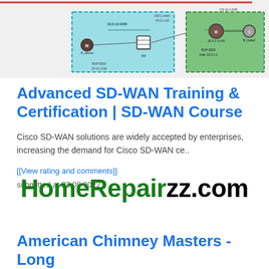[Figure (network-graph): Network topology diagram showing SD-WAN nodes with cyan and green highlighted regions, routers, switches, and connections. Red line at top, dashed cyan box on left side with networking devices, green box on right side with router icon. Various IP address labels throughout.]
Advanced SD-WAN Training & Certification | SD-WAN Course
Cisco SD-WAN solutions are widely accepted by enterprises, increasing the demand for Cisco SD-WAN ce..
[[View rating and comments]]
submitted at 23.08.2022
[Figure (logo): HomeRepairzz.com logo in bold font, with 'HomeRepair' in dark green and 'zz.com' in black.]
American Chimney Masters - Long